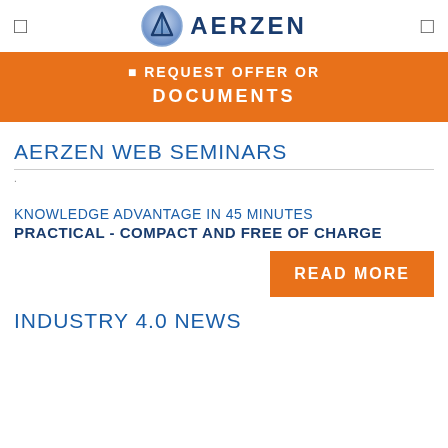AERZEN
[Figure (logo): AERZEN company logo with circular emblem and bold blue AERZEN text]
REQUEST OFFER OR DOCUMENTS
AERZEN WEB SEMINARS
KNOWLEDGE ADVANTAGE IN 45 MINUTES
PRACTICAL - COMPACT AND FREE OF CHARGE
READ MORE
INDUSTRY 4.0 NEWS